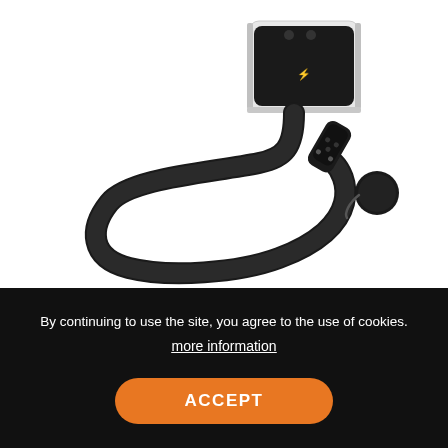[Figure (photo): EV charging device — Juice Charger Me — a compact white/black box unit with a black cable coiled and ending in a Type 2 connector with a cap, on a white background]
Juice Charger Me
Available in 11kW or 22kW, this robust, premium
By continuing to use the site, you agree to the use of cookies.
more information
ACCEPT